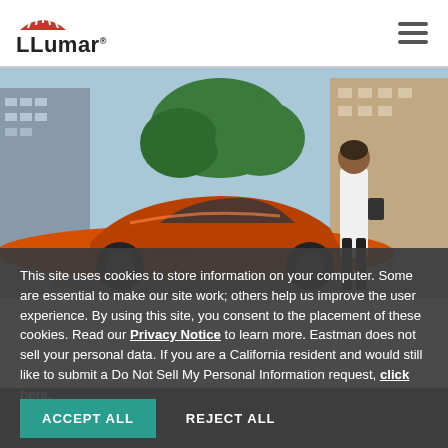LLumar logo and navigation menu
[Figure (photo): Hero image showing an orange sports car (Corvette-style) parked in an urban setting with a woman walking behind it, city buildings and trees in the background.]
This site uses cookies to store information on your computer. Some are essential to make our site work; others help us improve the user experience. By using this site, you consent to the placement of these cookies. Read our Privacy Notice to learn more. Eastman does not sell your personal data. If you are a California resident and would still like to submit a Do Not Sell My Personal Information request, click here.
ACCEPT ALL   REJECT ALL